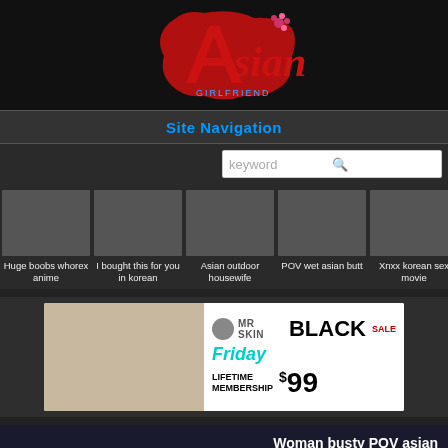[Figure (logo): Asian website logo in red stylized text with blue subtitle]
Site Navigation
[Figure (screenshot): Search input box with keyword placeholder and blue search icon]
[Figure (photo): Thumbnail 1: Huge boobs whorex anime]
Huge boobs whorex anime
[Figure (photo): Thumbnail 2: I bought this for you in korean]
I bought this for you in korean
[Figure (photo): Thumbnail 3: Asian outdoor housewife]
Asian outdoor housewife
[Figure (photo): Thumbnail 4: POV wet asian butt]
POV wet asian butt
[Figure (photo): Thumbnail 5: Xnxx korean sex movie]
Xnxx korean sex movie
[Figure (infographic): Mr Skin Black Friday Sale - Lifetime Membership $99 advertisement banner]
Woman busty POV asian